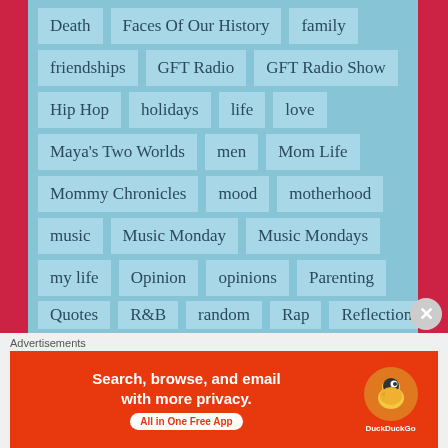Death
Faces Of Our History
family
friendships
GFT Radio
GFT Radio Show
Hip Hop
holidays
life
love
Maya’s Two Worlds
men
Mom Life
Mommy Chronicles
mood
motherhood
music
Music Monday
Music Mondays
my life
Opinion
opinions
Parenting
personal
photo challenge
Podcast
Podcasting
poems
poetry
questions
Quotes
R&B
random
Rap
Reflection
Advertisements
Search, browse, and email with more privacy. All in One Free App — DuckDuckGo